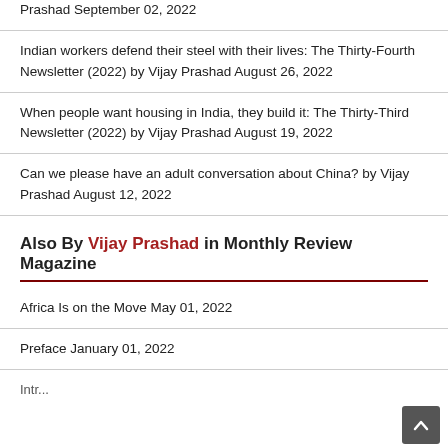Prashad September 02, 2022
Indian workers defend their steel with their lives: The Thirty-Fourth Newsletter (2022) by Vijay Prashad August 26, 2022
When people want housing in India, they build it: The Thirty-Third Newsletter (2022) by Vijay Prashad August 19, 2022
Can we please have an adult conversation about China? by Vijay Prashad August 12, 2022
Also By Vijay Prashad in Monthly Review Magazine
Africa Is on the Move May 01, 2022
Preface January 01, 2022